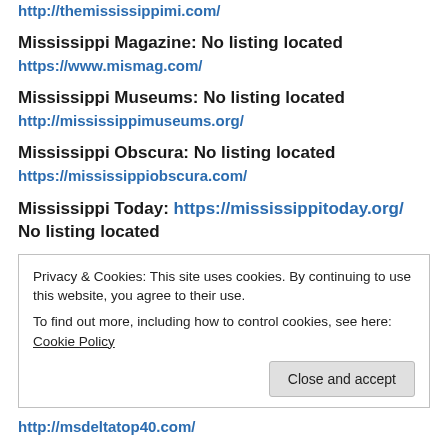http://themississippimi.com/
Mississippi Magazine: No listing located
https://www.mismag.com/
Mississippi Museums: No listing located
http://mississippimuseums.org/
Mississippi Obscura: No listing located
https://mississippiobscura.com/
Mississippi Today: https://mississippitoday.org/ No listing located
Privacy & Cookies: This site uses cookies. By continuing to use this website, you agree to their use. To find out more, including how to control cookies, see here: Cookie Policy
Close and accept
http://msdeltatop40.com/